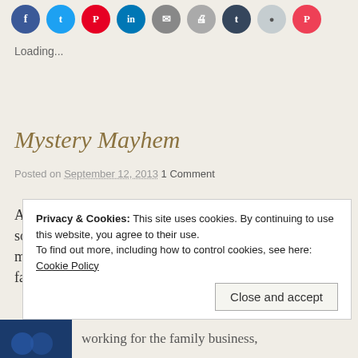[Figure (other): Row of social media share icon buttons: Facebook (blue), Twitter (cyan), Pinterest (red), LinkedIn (blue), Email (grey), Print (light grey), Tumblr (dark blue), Reddit (light blue), Pocket (red)]
Loading...
Mystery Mayhem
Posted on September 12, 2013 1 Comment
As I've mentioned before, I'm a fan of a good (and even some not-so-good) mysteries.  I thought I'd share some more quick thoughts on what's new in some of my favorite series.
Privacy & Cookies: This site uses cookies. By continuing to use this website, you agree to their use.
To find out more, including how to control cookies, see here: Cookie Policy
Close and accept
working for the family business,